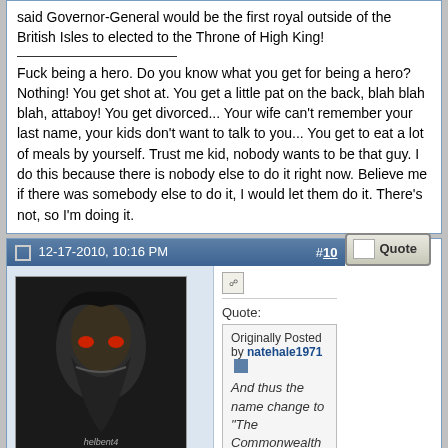said Governor-General would be the first royal outside of the British Isles to elected to the Throne of High King!

Fuck being a hero. Do you know what you get for being a hero? Nothing! You get shot at. You get a little pat on the back, blah blah blah, attaboy! You get divorced... Your wife can't remember your last name, your kids don't want to talk to you... You get to eat a lot of meals by yourself. Trust me kid, nobody wants to be that guy. I do this because there is nobody else to do it right now. Believe me if there was somebody else to do it, I would let them do it. There's not, so I'm doing it.
12-17-2010, 10:16 PM
#10
[Figure (photo): Avatar image for user helbent4, dark fantasy creature illustration, label 'helbent4' at bottom right]
helbent4 (online)
Volunteer Timeline Errata Coord.
Join Date: Oct 2008
Location: Vancouver BC
Posts: 532
Quote:
Originally Posted by natehale1971
And thus the name change to "The Commonwealth of Canada"